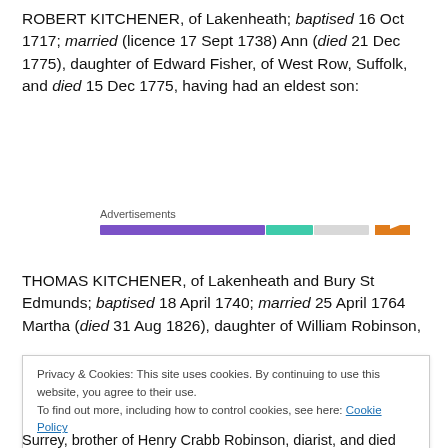ROBERT KITCHENER, of Lakenheath; baptised 16 Oct 1717; married (licence 17 Sept 1738) Ann (died 21 Dec 1775), daughter of Edward Fisher, of West Row, Suffolk, and died 15 Dec 1775, having had an eldest son:
[Figure (infographic): Advertisements label with colored progress/ad bar segments: purple, teal/green, light grey, orange]
THOMAS KITCHENER, of Lakenheath and Bury St Edmunds; baptised 18 April 1740; married 25 April 1764 Martha (died 31 Aug 1826), daughter of William Robinson,
Privacy & Cookies: This site uses cookies. By continuing to use this website, you agree to their use. To find out more, including how to control cookies, see here: Cookie Policy
Surrey, brother of Henry Crabb Robinson, diarist, and died